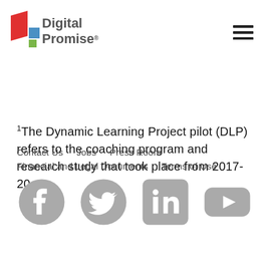[Figure (logo): Digital Promise logo with red, blue, and green geometric shapes and the text 'Digital Promise']
1The Dynamic Learning Project pilot (DLP) refers to the coaching program and research study that took place from 2017-20.
Contact Us   Jobs   Press Room
Financial and Legal Documents   Terms of Use
[Figure (other): Social media icons: Facebook, Twitter, LinkedIn, YouTube]